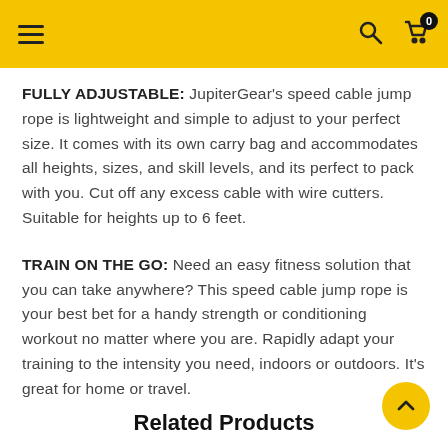Navigation header with menu, search, and cart icons
FULLY ADJUSTABLE: JupiterGear's speed cable jump rope is lightweight and simple to adjust to your perfect size. It comes with its own carry bag and accommodates all heights, sizes, and skill levels, and its perfect to pack with you. Cut off any excess cable with wire cutters. Suitable for heights up to 6 feet.
TRAIN ON THE GO: Need an easy fitness solution that you can take anywhere? This speed cable jump rope is your best bet for a handy strength or conditioning workout no matter where you are. Rapidly adapt your training to the intensity you need, indoors or outdoors. It's great for home or travel.
Related Products